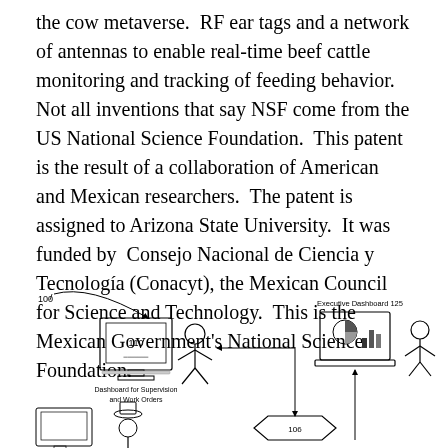the cow metaverse.  RF ear tags and a network of antennas to enable real-time beef cattle monitoring and tracking of feeding behavior.  Not all inventions that say NSF come from the US National Science Foundation.  This patent is the result of a collaboration of American and Mexican researchers.  The patent is assigned to Arizona State University.  It was funded by  Consejo Nacional de Ciencia y Tecnología (Conacyt), the Mexican Council for Science and Technology.  This is the Mexican Government's National Science Foundation.
[Figure (engineering-diagram): Patent diagram showing a system with label 100 indicating an arrow pointing to a workflow. Includes a monitor labeled 110 'Dashboard for Supervision and Work Orders' with a person figure and an arrow, connected to a box labeled 106. On the right side is 'Executive Dashboard 125' showing a laptop with charts and a person figure. Additional monitor and person with hat visible at bottom left.]